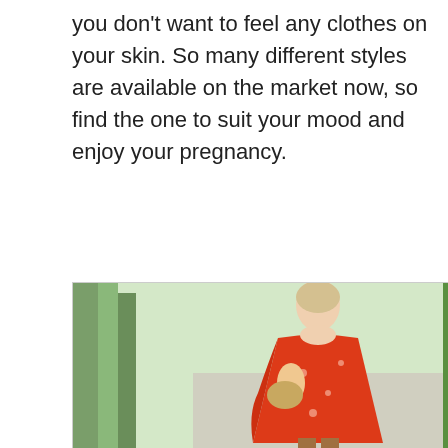you don't want to feel any clothes on your skin. So many different styles are available on the market now, so find the one to suit your mood and enjoy your pregnancy.
[Figure (photo): A pregnant woman wearing a red floral wrap dress with ruffle details, holding a small woven clutch bag, standing on a pathway with palm trees and greenery in the background, wearing brown strappy heeled sandals.]